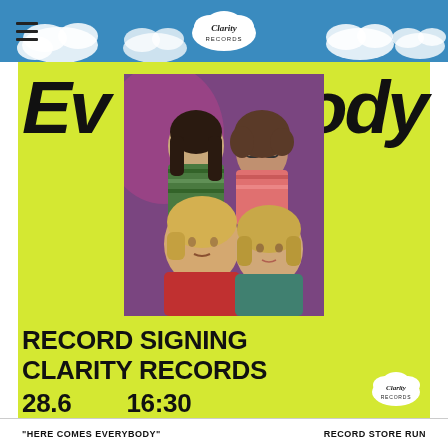Clarity Records
[Figure (photo): Band photo of four young people against a purple background. Two people at top: one with long dark hair looking up, one with glasses and curly hair. Two people in front: blonde male in red sweater, blonde female in teal top.]
Everybody
RECORD SIGNING
CLARITY RECORDS
28.6       16:30
"HERE COMES EVERYBODY"    RECORD STORE RUN